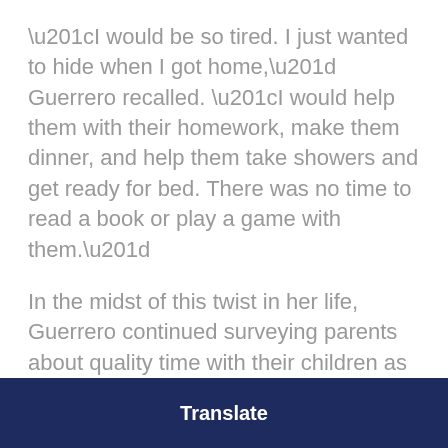“I would be so tired. I just wanted to hide when I got home,” Guerrero recalled. “I would help them with their homework, make them dinner, and help them take showers and get ready for bed. There was no time to read a book or play a game with them.”
In the midst of this twist in her life, Guerrero continued surveying parents about quality time with their children as part of her work on Best Start South Los Angeles/Broadway Manchester Community Partnership’s Community-Based Action Research (CBAR) Project on
Translate